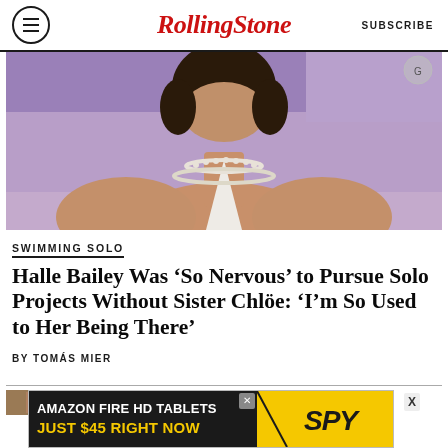Rolling Stone | SUBSCRIBE
[Figure (photo): Close-up photo of a woman wearing a white halter top and pearl necklaces, against a purple background]
SWIMMING SOLO
Halle Bailey Was ‘So Nervous’ to Pursue Solo Projects Without Sister Chlöe: ‘I’m So Used to Her Being There’
BY TOMÁS MIER
[Figure (photo): Partial photo visible at the bottom of the article]
[Figure (other): Advertisement banner: AMAZON FIRE HD TABLETS JUST $45 RIGHT NOW — SPY]